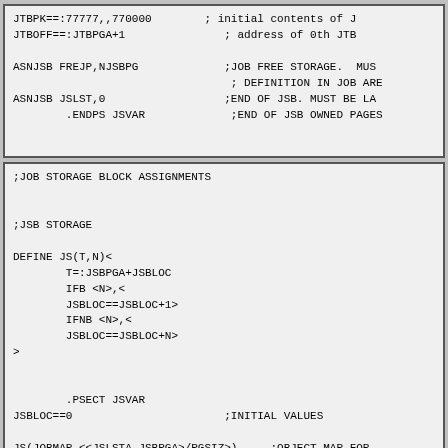JTBPK==:77777,,770000        ; initial contents of J
JTBOFF==:JTBPGA+1               ; address of 0th JTB

ASNJSB FREJP,NJSBPG             ;JOB FREE STORAGE.  MUS
                                 ; DEFINITION IN JOB ARE
ASNJSB JSLST,0                  ;END OF JSB. MUST BE LA
        .ENDPS JSVAR             ;END OF JSB OWNED PAGES
;JOB STORAGE BLOCK ASSIGNMENTS


;JSB STORAGE

DEFINE JS(T,N)<
        T=:JSBPGA+JSBLOC
        IFB <N>,<
        JSBLOC==JSBLOC+1>
        IFNB <N>,<
        JSBLOC==JSBLOC+N>
>


        .PSECT JSVAR
JSBLOC==0                       ;INITIAL VALUES

JS(JOBMAP,<<JSLSTA-JSBPGA>/PGSIZ>)     ;OBJECT MAP FOR
JOBM0=:JOBMAP-JSBPG             ;BEG OF JOBMAP RELATIVE

NUFKS==:30                      ;MAX NUMBER FORKS/JOB
JS SYSFK,NUFKS                  ;JOB FORK INDEX TO SYS